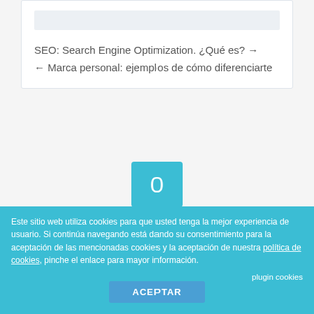SEO: Search Engine Optimization. ¿Qué es? →
← Marca personal: ejemplos de cómo diferenciarte
[Figure (other): Comment count bubble icon showing '0' in a teal square with downward arrow pointer]
Comments
Deja una respuesta
Este sitio web utiliza cookies para que usted tenga la mejor experiencia de usuario. Si continúa navegando está dando su consentimiento para la aceptación de las mencionadas cookies y la aceptación de nuestra política de cookies, pinche el enlace para mayor información.
plugin cookies
ACEPTAR